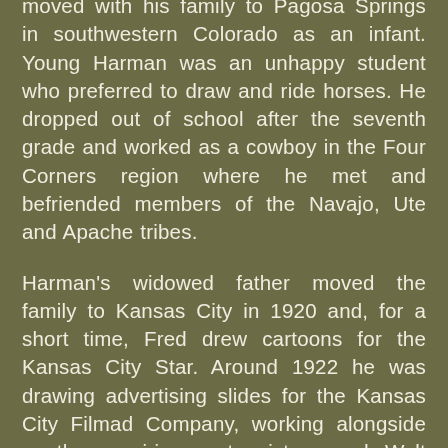moved with his family to Pagosa Springs in southwestern Colorado as an infant. Young Harman was an unhappy student who preferred to draw and ride horses. He dropped out of school after the seventh grade and worked as a cowboy in the Four Corners region where he met and befriended members of the Navajo, Ute and Apache tribes.
Harman's widowed father moved the family to Kansas City in 1920 and, for a short time, Fred drew cartoons for the Kansas City Star. Around 1922 he was drawing advertising slides for the Kansas City Filmad Company, working alongside another aspiring cartoonist named Walt Disney. Harman and Disney formed their own animation company, Kaycee Studios, but it folded after about a year. Disney then opened another studio and hired Harman's younger brother Hugh. Fred drifted back to St. Joseph where his family had maintained